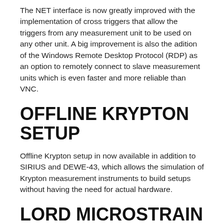The NET interface is now greatly improved with the implementation of cross triggers that allow the triggers from any measurement unit to be used on any other unit. A big improvement is also the adition of the Windows Remote Desktop Protocol (RDP) as an option to remotely connect to slave measurement units which is even faster and more reliable than VNC.
OFFLINE KRYPTON SETUP
Offline Krypton setup in now available in addition to SIRIUS and DEWE-43, which allows the simulation of Krypton measurement instruments to build setups without having the need for actual hardware.
LORD MICROSTRAIN WIRELESS SENSORS